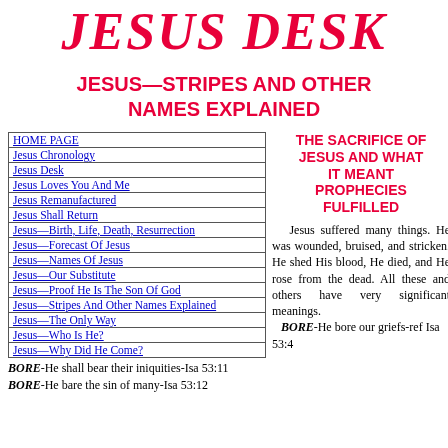JESUS DESK
JESUS—STRIPES AND OTHER NAMES EXPLAINED
| Links |
| --- |
| HOME PAGE |
| Jesus Chronology |
| Jesus Desk |
| Jesus Loves You And Me |
| Jesus Remanufactured |
| Jesus Shall Return |
| Jesus—Birth, Life, Death, Resurrection |
| Jesus—Forecast Of Jesus |
| Jesus—Names Of Jesus |
| Jesus—Our Substitute |
| Jesus—Proof He Is The Son Of God |
| Jesus—Stripes And Other Names Explained |
| Jesus—The Only Way |
| Jesus—Who Is He? |
| Jesus—Why Did He Come? |
THE SACRIFICE OF JESUS AND WHAT IT MEANT PROPHECIES FULFILLED
Jesus suffered many things. He was wounded, bruised, and stricken. He shed His blood, He died, and He rose from the dead. All these and others have very significant meanings.
BORE-He bore our griefs-ref Isa 53:4
BORE-He shall bear their iniquities-Isa 53:11
BORE-He bare the sin of many-Isa 53:12